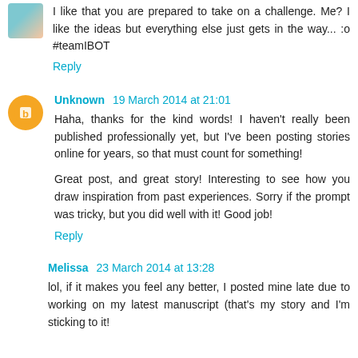I like that you are prepared to take on a challenge. Me? I like the ideas but everything else just gets in the way... :o #teamIBOT
Reply
Unknown  19 March 2014 at 21:01
Haha, thanks for the kind words! I haven't really been published professionally yet, but I've been posting stories online for years, so that must count for something!
Great post, and great story! Interesting to see how you draw inspiration from past experiences. Sorry if the prompt was tricky, but you did well with it! Good job!
Reply
Melissa  23 March 2014 at 13:28
lol, if it makes you feel any better, I posted mine late due to working on my latest manuscript (that's my story and I'm sticking to it!